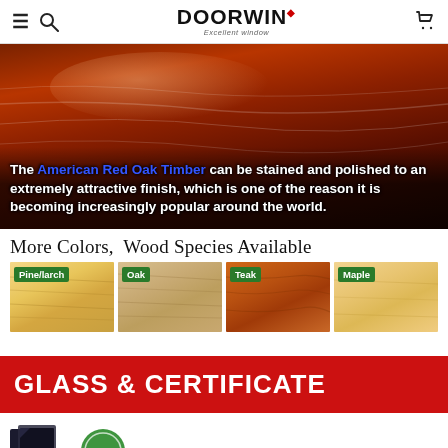DOORWIN — navigation header with hamburger menu, search icon, logo, and cart icon
[Figure (photo): American Red Oak Timber close-up showing reddish-brown wood grain with light sheen highlight, dark vignette at bottom. Overlaid bold white text with blue accent reads: 'The American Red Oak Timber can be stained and polished to an extremely attractive finish, which is one of the reason it is becoming increasingly popular around the world.']
More Colors,  Wood Species Available
[Figure (photo): Four wood species swatches side by side: Pine/larch (light yellow grain), Oak (medium tan grain), Teak (warm orange-brown grain), Maple (pale golden grain). Each has a green label in the top-left corner.]
GLASS & CERTIFICATE
[Figure (photo): Bottom strip showing partial images: black glass panel on left, green circular logo/seal in center, and 'Double G' text label on right — cut off at bottom of page.]